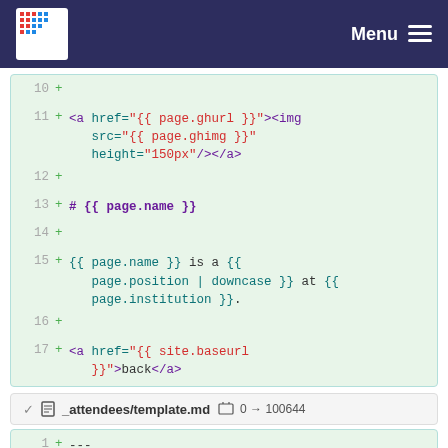Menu
[Figure (screenshot): Code diff showing lines 10-17 of a template file with HTML and Liquid template syntax additions]
_attendees/template.md  0 → 100644
[Figure (screenshot): Code diff showing lines 1-4 of _attendees/template.md with YAML front matter: layout: default, name: Firstname Lastname, position: Position]